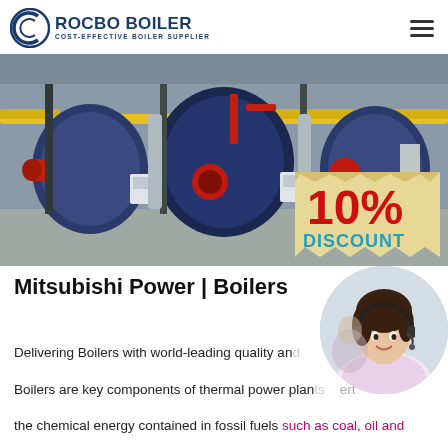[Figure (logo): Rocbo Boiler logo with circular icon and text 'ROCBO BOILER - COST-EFFECTIVE BOILER SUPPLIER']
[Figure (photo): Industrial boiler room with three large cylindrical blue and red boilers, yellow pipes overhead, and a '10% DISCOUNT' badge overlay]
Mitsubishi Power | Boilers
[Figure (photo): Circular cropped photo of a woman with headset smiling, customer service representative]
Delivering Boilers with world-leading quality and...
Boilers are key components of thermal power plants...ert
the chemical energy contained in fossil fuels such as coal, oil and